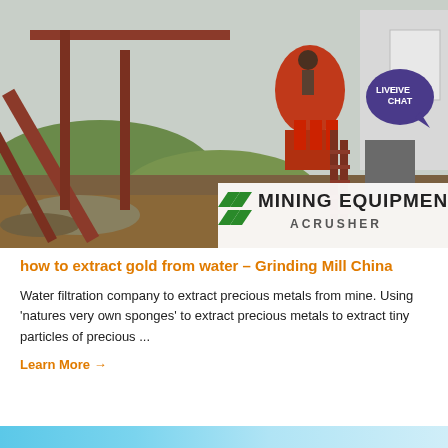[Figure (photo): Mining equipment facility with rust-colored metal conveyor structures, stairs, and machinery. A worker is visible near a large crusher. Muddy ground in foreground, green hills in background. Overlay in lower right shows 'MINING EQUIPMENT ACRUSHER' logo with green chevron marks. A 'LIVE CHAT' badge appears top right.]
how to extract gold from water – Grinding Mill China
Water filtration company to extract precious metals from mine. Using 'natures very own sponges' to extract precious metals to extract tiny particles of precious ...
Learn More →